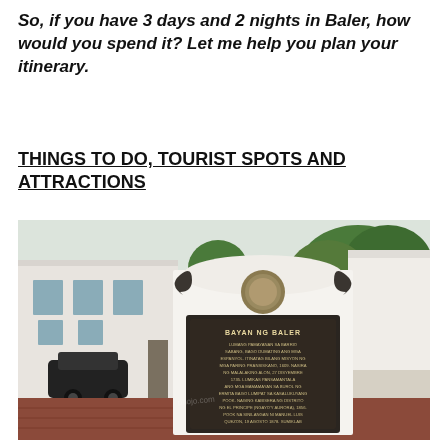So, if you have 3 days and 2 nights in Baler, how would you spend it? Let me help you plan your itinerary.
THINGS TO DO, TOURIST SPOTS AND ATTRACTIONS
[Figure (photo): A historical marker/plaque for Bayan ng Baler mounted on a white monument. The dark bronze plaque reads 'BAYAN NG BALER' with Filipino text describing the history of Baler. A building and trees are visible in the background.]